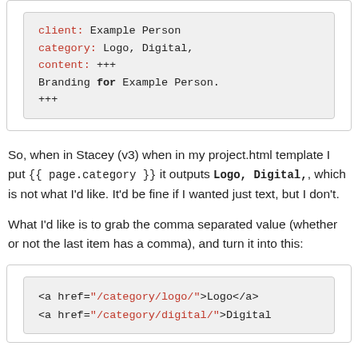[Figure (screenshot): Code block showing YAML-like content with client, category, content fields and Branding for Example Person text]
So, when in Stacey (v3) when in my project.html template I put {{ page.category }} it outputs Logo, Digital,, which is not what I'd like. It'd be fine if I wanted just text, but I don't.
What I'd like is to grab the comma separated value (whether or not the last item has a comma), and turn it into this:
[Figure (screenshot): Code block showing HTML anchor tags: <a href="/category/logo/">Logo</a> and <a href="/category/digital/">Digital]